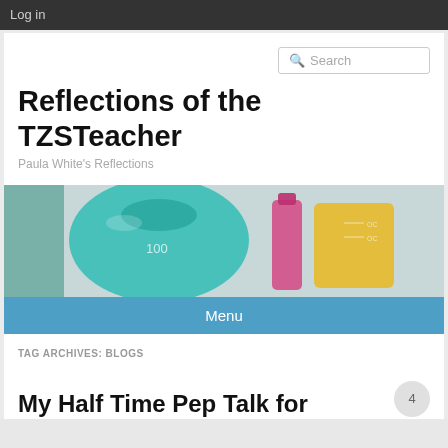Log in
Search
Reflections of the TZSTeacher
Paula White's Reflections
[Figure (photo): Close-up photograph of colorful laboratory beakers and flasks with colored liquids — teal, pink, and yellow]
Menu
TAG ARCHIVES: BLOGS
My Half Time Pep Talk for